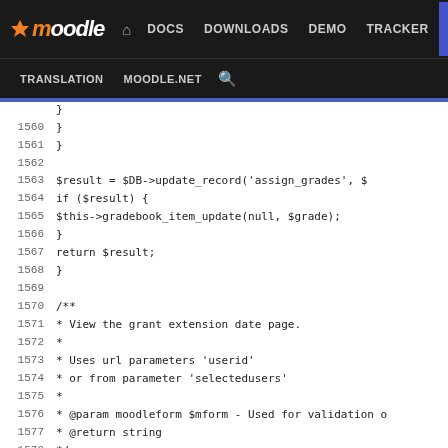moodle — DOCS DOWNLOADS DEMO TRACKER DEV — TRANSLATION MOODLE.NET Search
[Figure (screenshot): Moodle developer documentation website navigation bar with logo, nav links (DOCS, DOWNLOADS, DEMO, TRACKER, DEV active), and secondary nav (TRANSLATION, MOODLE.NET, search icon)]
Code viewer showing PHP source lines 1559-1585 of Moodle assignment module. Lines include: closing braces, $result = $DB->update_record('assign_grades', $), if ($result) {, $this->gradebook_item_update(null, $grade);, closing braces, return $result;, closing brace, blank line, /** docblock: View the grant extension date page., * Uses url parameters 'userid', * or from parameter 'selectedusers', * @param moodleform $mform - Used for validation o, * @return string, */, protected function view_grant_extension($mform) {, global $DB, $CFG;, require_once($CFG->dirroot . '/mod/assign/exten, blank, $o = '';, $batchusers = optional_param('selectedusers',, $data = new stdClass();